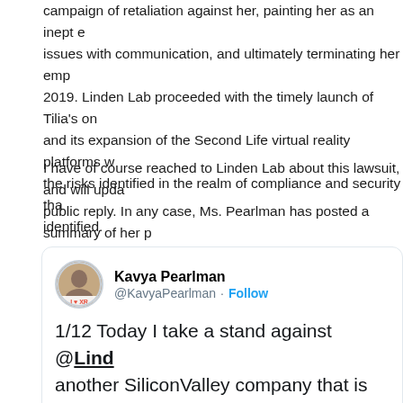campaign of retaliation against her, painting her as an inept employee with issues with communication, and ultimately terminating her employment in 2019. Linden Lab proceeded with the timely launch of Tilia's on and its expansion of the Second Life virtual reality platforms w the risks identified in the realm of compliance and security tha identified.
I have of course reached to Linden Lab about this lawsuit, and will upda public reply. In any case, Ms. Pearlman has posted a summary of her p a key passage which directly connects her allegations to current event thread below:
[Figure (screenshot): Tweet from Kavya Pearlman (@KavyaPearlman) with Follow button. Tweet text: 1/12 Today I take a stand against @Lind another SiliconValley company that is mo interested in status quo and not listening voice of #security #privacy and #ethics its the voice of a #woman. I filed a retalia lawsuit against #LindenLab]